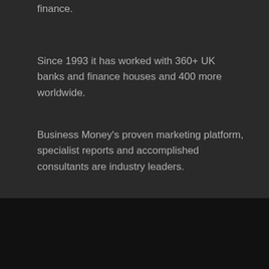finance.
Since 1993 it has worked with 360+ UK banks and finance houses and 400 more worldwide.
Business Money's proven marketing platform, specialist reports and accomplished consultants are industry leaders.
Social links
Twitter